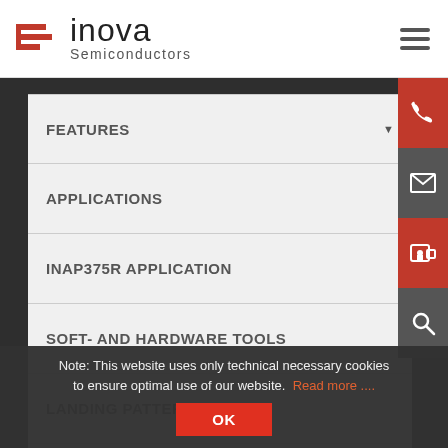[Figure (logo): Inova Semiconductors logo with red circuit-board icon and gray text]
FEATURES
APPLICATIONS
INAP375R APPLICATION
SOFT- AND HARDWARE TOOLS
LANDING PATTERNS
APPLICATION NOTES
ORDERING INFORMATION
Note: This website uses only technical necessary cookies to ensure optimal use of our website. Read more ....